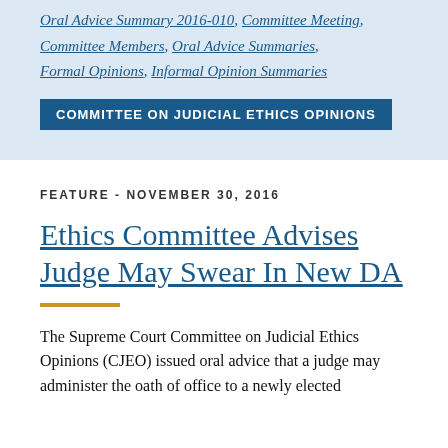Oral Advice Summary 2016-010, Committee Meeting, Committee Members, Oral Advice Summaries, Formal Opinions, Informal Opinion Summaries
COMMITTEE ON JUDICIAL ETHICS OPINIONS
FEATURE - NOVEMBER 30, 2016
Ethics Committee Advises Judge May Swear In New DA
The Supreme Court Committee on Judicial Ethics Opinions (CJEO) issued oral advice that a judge may administer the oath of office to a newly elected